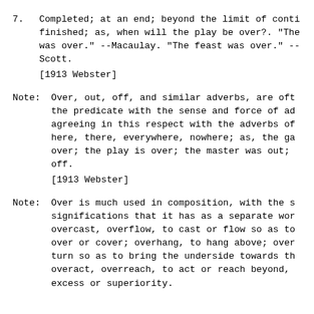7. Completed; at an end; beyond the limit of conti finished; as, when will the play be over?. "The was over." --Macaulay. "The feast was over." -- Scott.
[1913 Webster]
Note: Over, out, off, and similar adverbs, are oft the predicate with the sense and force of ad agreeing in this respect with the adverbs of here, there, everywhere, nowhere; as, the ga over; the play is over; the master was out; off.
[1913 Webster]
Note: Over is much used in composition, with the s significations that it has as a separate wor overcast, overflow, to cast or flow so as to over or cover; overhang, to hang above; over turn so as to bring the underside towards th overact, overreach, to act or reach beyond, excess or superiority.